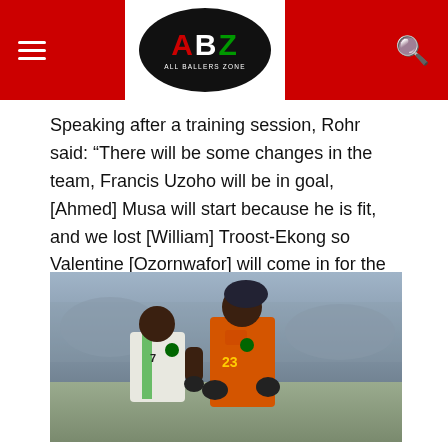ABZ All Ballers Zone
Speaking after a training session, Rohr said: “There will be some changes in the team, Francis Uzoho will be in goal, [Ahmed] Musa will start because he is fit, and we lost [William] Troost-Ekong so Valentine [Ozornwafor] will come in for the first time.”
[Figure (photo): Two Nigerian national football team players embracing after a match. One player wears the white-and-green Nigeria jersey (number 7), and the other wears an orange goalkeeper jersey (number 23 - Francis Uzoho). They are smiling and celebrating.]